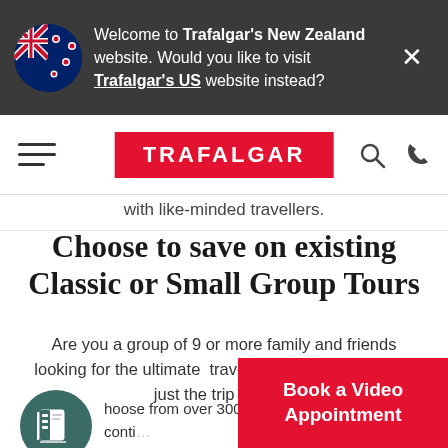Welcome to Trafalgar's New Zealand website. Would you like to visit Trafalgar's US website instead?
[Figure (logo): Trafalgar red logo box with white text]
with like-minded travellers.
Choose to save on existing Classic or Small Group Tours
Are you a group of 9 or more family and friends looking for the ultimate travel experience? We have just the trip for you.
Choose from over 300+ ... conti...
Book a Video Appointment